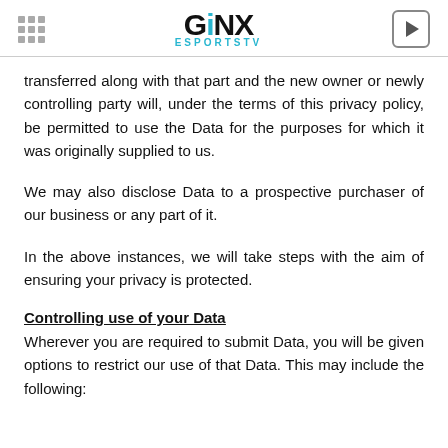GINX ESPORTSTV
transferred along with that part and the new owner or newly controlling party will, under the terms of this privacy policy, be permitted to use the Data for the purposes for which it was originally supplied to us.
We may also disclose Data to a prospective purchaser of our business or any part of it.
In the above instances, we will take steps with the aim of ensuring your privacy is protected.
Controlling use of your Data
Wherever you are required to submit Data, you will be given options to restrict our use of that Data. This may include the following: